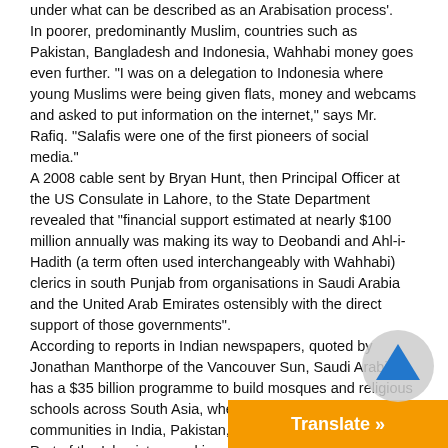under what can be described as an Arabisation process'. In poorer, predominantly Muslim, countries such as Pakistan, Bangladesh and Indonesia, Wahhabi money goes even further. "I was on a delegation to Indonesia where young Muslims were being given flats, money and webcams and asked to put information on the internet," says Mr. Rafiq. "Salafis were one of the first pioneers of social media." A 2008 cable sent by Bryan Hunt, then Principal Officer at the US Consulate in Lahore, to the State Department revealed that "financial support estimated at nearly $100 million annually was making its way to Deobandi and Ahl-i-Hadith (a term often used interchangeably with Wahhabi) clerics in south Punjab from organisations in Saudi Arabia and the United Arab Emirates ostensibly with the direct support of those governments". According to reports in Indian newspapers, quoted by Jonathan Manthorpe of the Vancouver Sun, Saudi Arabia has a $35 billion programme to build mosques and religious schools across South Asia, where there are major Muslim communities in India, Pakistan, Bangladesh and Kashmir. Part of the Islamist appeal in poorer Muslim countries is the provision of services to deprived people who have been failed by their governments. Pakistan is a country that has long relied on civil society institutions for the provision of vital pub